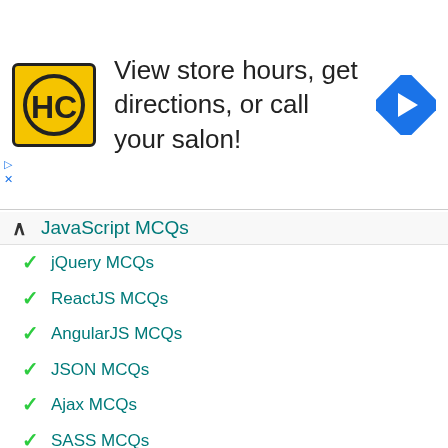[Figure (illustration): Advertisement banner for a salon/hair care business (HC logo) with text 'View store hours, get directions, or call your salon!' and a navigation arrow icon]
JavaScript MCQs
jQuery MCQs
ReactJS MCQs
AngularJS MCQs
JSON MCQs
Ajax MCQs
SASS MCQs
HTML MCQs
Advanced CSS MCQs
CSS MCQs
OOPs MCQs
PL/SQL MCQs
SQL MCQs
Oracle MCQs
SQLite MCQs